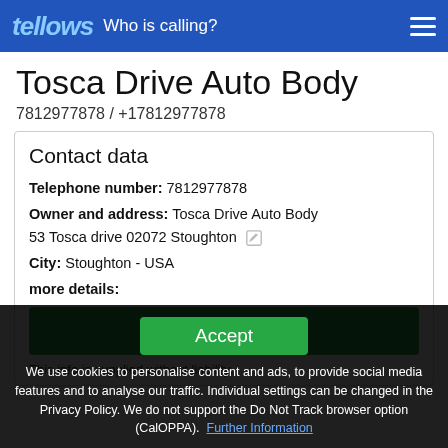tellows Who is calling?
Tosca Drive Auto Body
7812977878 / +17812977878
Contact data
Telephone number: 7812977878
Owner and address: Tosca Drive Auto Body 53 Tosca drive 02072 Stoughton
City: Stoughton - USA
more details:
Website
This info is supplied without liability.
Accept
We use cookies to personalise content and ads, to provide social media features and to analyse our traffic. Individual settings can be changed in the Privacy Policy. We do not support the Do Not Track browser option (CalOPPA). Further Information